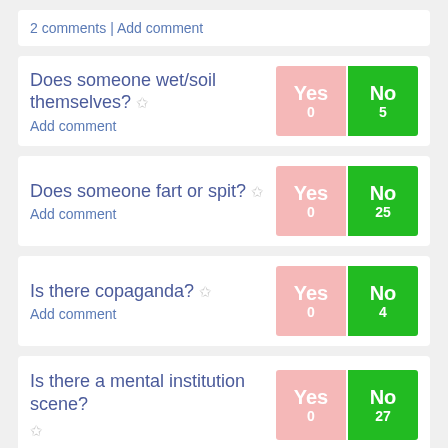2 comments | Add comment
Does someone wet/soil themselves? ☆
Add comment
Yes 0 | No 5
Does someone fart or spit? ☆
Add comment
Yes 0 | No 25
Is there copaganda? ☆
Add comment
Yes 0 | No 4
Is there a mental institution scene? ☆
Yes 0 | No 27
Corellon
5
Not a mental institution, but a ladies finishing school is portrayed with intense gloating and a sense of [continues]